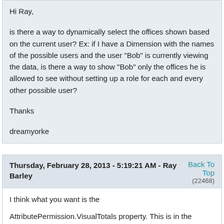Hi Ray,

is there a way to dynamically select the offices shown based on the current user? Ex: if I have a Dimension with the names of the possible users and the user "Bob" is currently viewing the data, is there a way to show "Bob" only the offices he is allowed to see without setting up a role for each and every other possible user?

Thanks

dreamyorke
Thursday, February 28, 2013 - 5:19:21 AM - Ray Barley
Back To Top
(22468)
I think what you want is the

AttributePermission.VisualTotals property.  This is in the